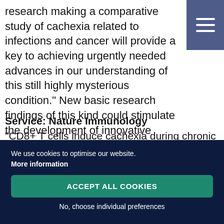research making a comparative study of cachexia related to infections and cancer will provide a key to achieving urgently needed advances in our understanding of this still highly mysterious condition." New basic research findings of this kind could stimulate the development of innovative therapeutic strategies to mitigate cachexia and the associated life-threatening chronic diseases.
Service: Nature Immunology
"CD8+ T cells induce cachexia during chronic viral infection."
We use cookies to optimise our website.
More information
ACCEPT ALL COOKIES
No, choose individual preferences